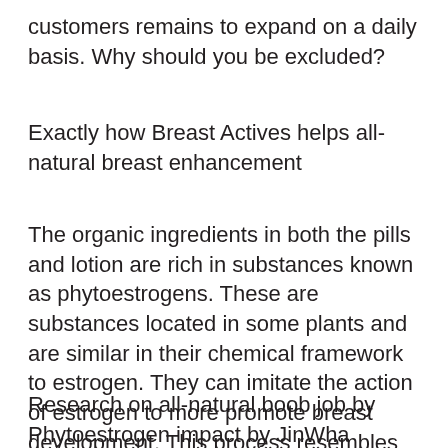customers remains to expand on a daily basis. Why should you be excluded?
Exactly how Breast Actives helps all-natural breast enhancement
The organic ingredients in both the pills and lotion are rich in substances known as phytoestrogens. These are substances located in some plants and are similar in their chemical framework to estrogen. They can imitate the action of estrogen to more promote breast development. This process resembles breast advancement when women undergo puberty.
Research on all-natural boob job by Phytoestrogen impact by JinWha Chung MD,